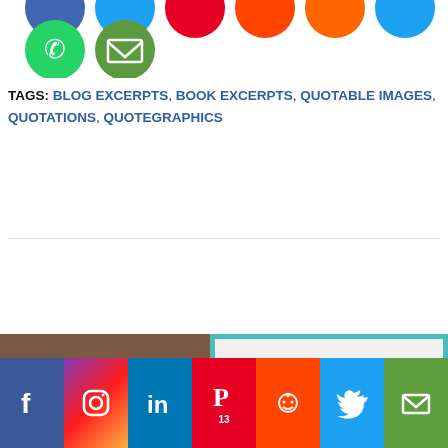[Figure (infographic): Social share icons top row: WhatsApp (green circle with phone icon) and Email (dark green circle with envelope icon), partially cropped row of other social icons above.]
TAGS: BLOG EXCERPTS, BOOK EXCERPTS, QUOTABLE IMAGES, QUOTATIONS, QUOTEGRAPHICS
[Figure (infographic): Previous Post navigation button in blue]
[Figure (photo): Preview image showing a television-style graphic with text 'than any other media.' on left and 'Video Views daily' on a retro TV on right]
[Figure (infographic): Bottom social media sharing bar with Facebook, Instagram, LinkedIn, Pinterest (13 saves), Reddit, Twitter, and Email icons]